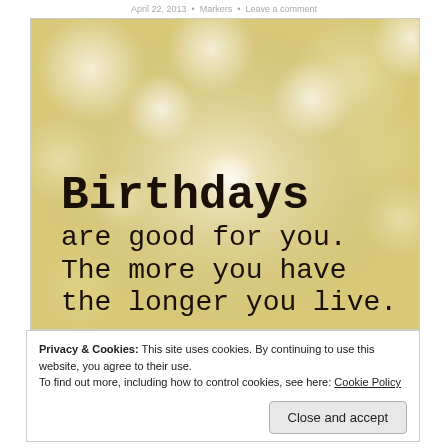April 22, 2013   •   Markers   •   Leave a comment
[Figure (illustration): Inspirational birthday quote image with bokeh/blurred light background in cream and tan tones. Large typewriter-style text reads: 'Birthdays are good for you. The more you have the longer you live.']
Privacy & Cookies: This site uses cookies. By continuing to use this website, you agree to their use.
To find out more, including how to control cookies, see here: Cookie Policy
Close and accept